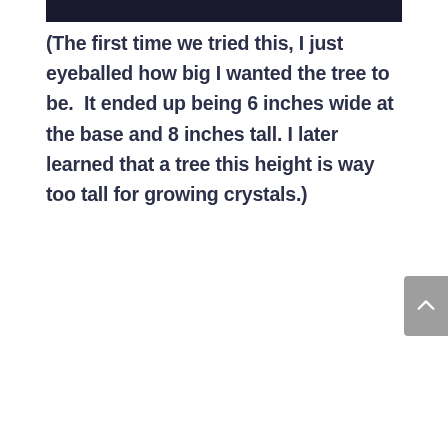[Figure (photo): Dark/black image bar at the top of the page, partially cropped photograph]
(The first time we tried this, I just eyeballed how big I wanted the tree to be.  It ended up being 6 inches wide at the base and 8 inches tall. I later learned that a tree this height is way too tall for growing crystals.)